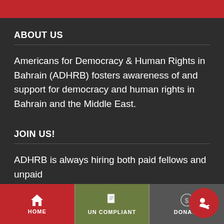ABOUT US
Americans for Democracy & Human Rights in Bahrain (ADHRB) fosters awareness of and support for democracy and human rights in Bahrain and the Middle East.
JOIN US!
ADHRB is always hiring both paid fellows and unpaid
HOME | UN COMPLIANT | DONATE